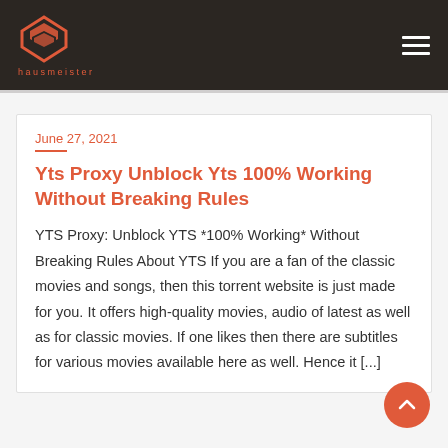hausmeister
June 27, 2021
Yts Proxy Unblock Yts 100% Working Without Breaking Rules
YTS Proxy: Unblock YTS *100% Working* Without Breaking Rules About YTS If you are a fan of the classic movies and songs, then this torrent website is just made for you. It offers high-quality movies, audio of latest as well as for classic movies. If one likes then there are subtitles for various movies available here as well. Hence it [...]